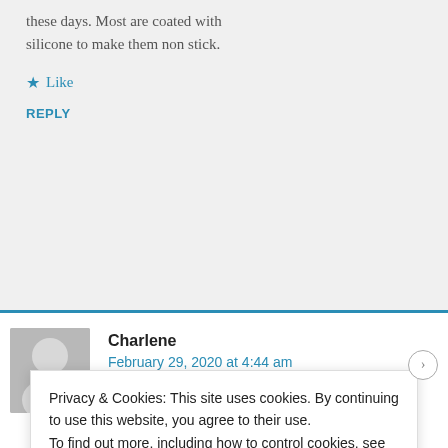these days. Most are coated with silicone to make them non stick.
★ Like
REPLY
Charlene
February 29, 2020 at 4:44 am
I am confused. Has anybody just tried using
Privacy & Cookies: This site uses cookies. By continuing to use this website, you agree to their use.
To find out more, including how to control cookies, see here: Cookie Policy
CLOSE AND ACCEPT